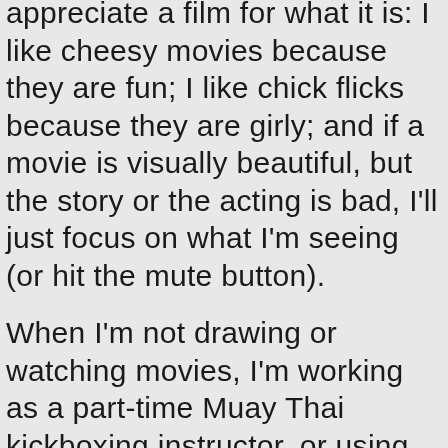appreciate a film for what it is: I like cheesy movies because they are fun; I like chick flicks because they are girly; and if a movie is visually beautiful, but the story or the acting is bad, I'll just focus on what I'm seeing (or hit the mute button).
When I'm not drawing or watching movies, I'm working as a part-time Muay Thai kickboxing instructor, or using my down time to read, travel, or spend time with friends.
Checkout my Reviews because being Hollywood-ist...